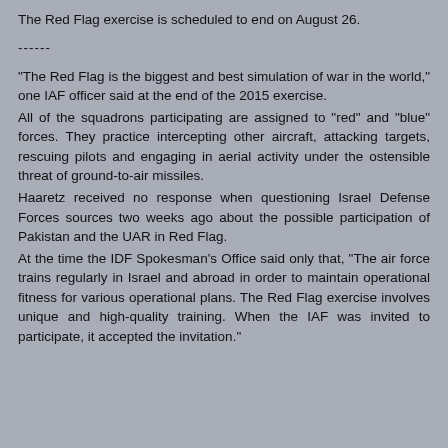The Red Flag exercise is scheduled to end on August 26.
------
“The Red Flag is the biggest and best simulation of war in the world,” one IAF officer said at the end of the 2015 exercise.
All of the squadrons participating are assigned to “red” and “blue” forces. They practice intercepting other aircraft, attacking targets, rescuing pilots and engaging in aerial activity under the ostensible threat of ground-to-air missiles.
Haaretz received no response when questioning Israel Defense Forces sources two weeks ago about the possible participation of Pakistan and the UAR in Red Flag.
At the time the IDF Spokesman's Office said only that, “The air force trains regularly in Israel and abroad in order to maintain operational fitness for various operational plans. The Red Flag exercise involves unique and high-quality training. When the IAF was invited to participate, it accepted the invitation.”